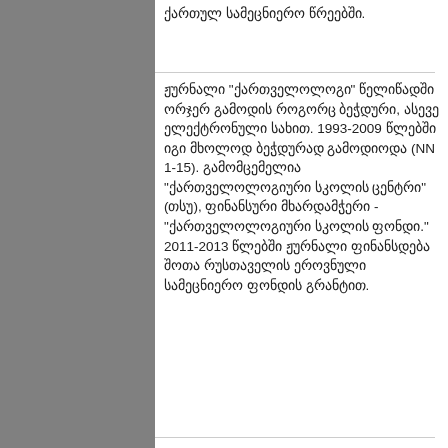ქართულ სამეცნიერო წრეებში.
ჟურნალი "ქართველოლოგი" წელიწადში ორჯერ გამოდის როგორც ბეჭდური, ასევე ელექტრონული სახით. 1993-2009 წლებში იგი მხოლოდ ბეჭდურად გამოდიოდა (NN 1-15). გამომცემელია "ქართველოლოგიური სკოლის ცენტრი" (თსუ), ფინანსური მხარდამჭერი - "ქართველოლოგიური სკოლის ფონდი." 2011-2013 წლებში ჟურნალი ფინანსდება შოთა რუსთაველის ეროვნული სამეცნიერო ფონდის გრანტით.